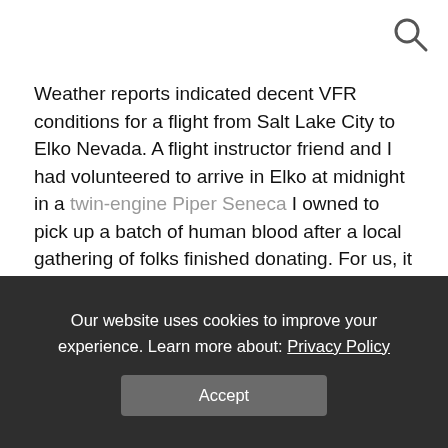[Figure (other): Search icon (magnifying glass) in top right corner]
Weather reports indicated decent VFR conditions for a flight from Salt Lake City to Elko Nevada. A flight instructor friend and I had volunteered to arrive in Elko at midnight in a twin-engine Piper Seneca I owned to pick up a batch of human blood after a local gathering of folks finished donating. For us, it was a great opportunity to get free flight time since the organization paid for our fuel. Although I was instrument rated I was not current and quite inexperienced. This flight was intended to help get me current as well as build valuable multi-engine time.
Departing VFR we turned westbound about 11pm. As the city lights grew dim behind us the moonless night over the desert
Our website uses cookies to improve your experience. Learn more about: Privacy Policy
Accept